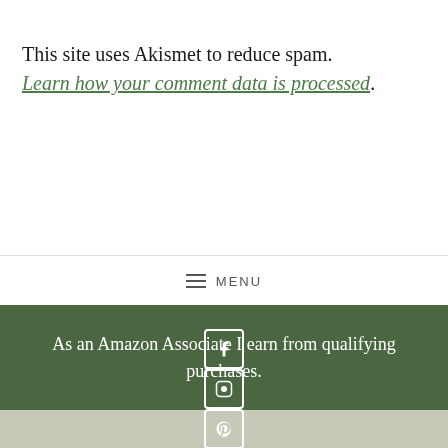This site uses Akismet to reduce spam. Learn how your comment data is processed.
≡  MENU
As an Amazon Associate I earn from qualifying purchases.
[Figure (other): Footer social media icons: Facebook, Instagram, Pinterest, Twitter, YouTube]